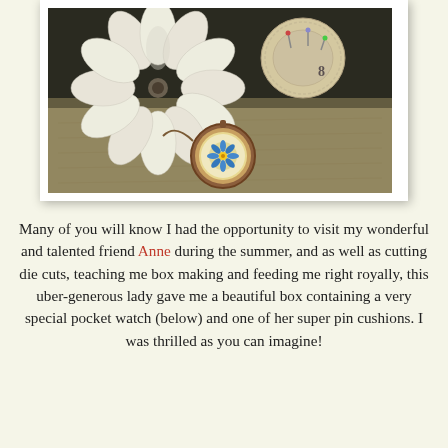[Figure (photo): A photograph showing decorative handmade items including a large white paper flower, a pin cushion, and a pocket watch with a blue daisy design on a chain, arranged on a script-written paper background.]
Many of you will know I had the opportunity to visit my wonderful and talented friend Anne during the summer, and as well as cutting die cuts, teaching me box making and feeding me right royally, this uber-generous lady gave me a beautiful box containing a very special pocket watch (below) and one of her super pin cushions. I was thrilled as you can imagine!
[Figure (photo): A close-up photograph of a vintage copper/bronze pocket watch with the word 'friendship' visible on a paper label inside the watch face, along with a chain, on a script-written paper background.]